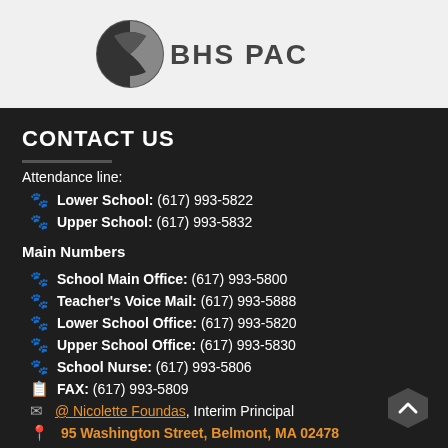[Figure (logo): BHS PAC logo with circular emblem and text BHS PAC]
CONTACT US
Attendance line:
🐾 Lower School: (617) 993-5822
🐾 Upper School: (617) 993-5832
Main Numbers
🐾 School Main Office: (617) 993-5800
🐾 Teacher's Voice Mail: (617) 993-5888
🐾 Lower School Office: (617) 993-5820
🐾 Upper School Office: (617) 993-5830
🐾 School Nurse: (617) 993-5806
📋 FAX: (617) 993-5809
✉ @ Nicolette Foundas, Interim Principal
📍 95 Washington Street, Belmont, MA 02478